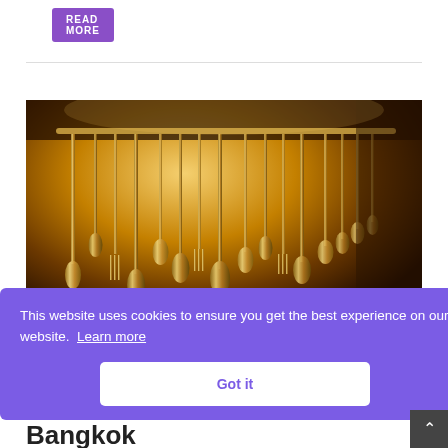READ MORE
[Figure (photo): Golden-lit hanging kitchen utensils (spoons, forks, knives, ladles) suspended from a rack in a restaurant kitchen, warm amber lighting.]
This website uses cookies to ensure you get the best experience on our website. Learn more
Got it
Bangkok